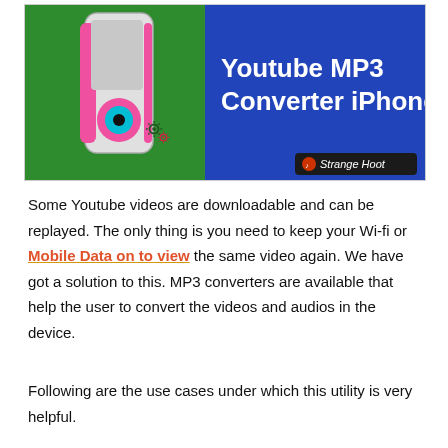[Figure (illustration): Banner image showing a pink iPod-like device on a green background on the left, and text 'Youtube MP3 Converter iPhone' in white bold text on a blue/purple background on the right. A 'Strange Hoot' logo badge is visible in the bottom right corner. Small gear icons are visible near the device.]
Some Youtube videos are downloadable and can be replayed. The only thing is you need to keep your Wi-fi or Mobile Data on to view the same video again. We have got a solution to this. MP3 converters are available that help the user to convert the videos and audios in the device.
Following are the use cases under which this utility is very helpful.